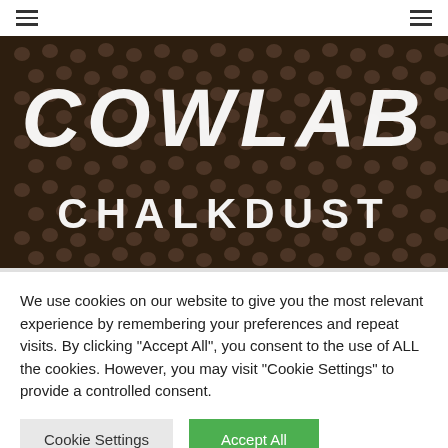[Figure (illustration): Dark background covered in skull pattern with large white distressed text 'COWLAB' on top and 'CHALKDUST' below in bold stencil style lettering]
We use cookies on our website to give you the most relevant experience by remembering your preferences and repeat visits. By clicking "Accept All", you consent to the use of ALL the cookies. However, you may visit "Cookie Settings" to provide a controlled consent.
Cookie Settings
Accept All